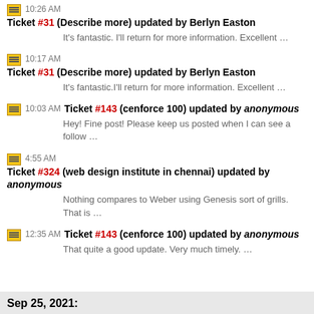10:26 AM Ticket #31 (Describe more) updated by Berlyn Easton
It's fantastic. I'll return for more information. Excellent …
10:17 AM Ticket #31 (Describe more) updated by Berlyn Easton
It's fantastic.I'll return for more information. Excellent …
10:03 AM Ticket #143 (cenforce 100) updated by anonymous
Hey! Fine post! Please keep us posted when I can see a follow …
4:55 AM Ticket #324 (web design institute in chennai) updated by anonymous
Nothing compares to Weber using Genesis sort of grills. That is …
12:35 AM Ticket #143 (cenforce 100) updated by anonymous
That quite a good update. Very much timely. …
Sep 25, 2021: